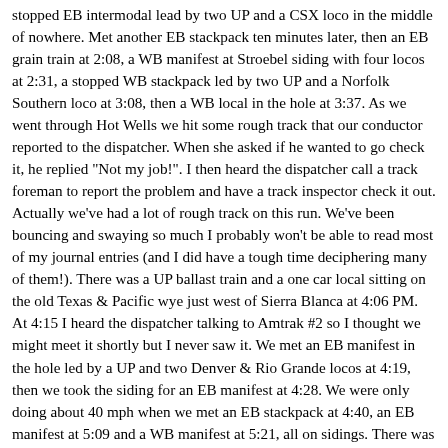stopped EB intermodal lead by two UP and a CSX loco in the middle of nowhere. Met another EB stackpack ten minutes later, then an EB grain train at 2:08, a WB manifest at Stroebel siding with four locos at 2:31, a stopped WB stackpack led by two UP and a Norfolk Southern loco at 3:08, then a WB local in the hole at 3:37. As we went through Hot Wells we hit some rough track that our conductor reported to the dispatcher. When she asked if he wanted to go check it, he replied "Not my job!". I then heard the dispatcher call a track foreman to report the problem and have a track inspector check it out. Actually we've had a lot of rough track on this run. We've been bouncing and swaying so much I probably won't be able to read most of my journal entries (and I did have a tough time deciphering many of them!). There was a UP ballast train and a one car local sitting on the old Texas & Pacific wye just west of Sierra Blanca at 4:06 PM. At 4:15 I heard the dispatcher talking to Amtrak #2 so I thought we might meet it shortly but I never saw it. We met an EB manifest in the hole led by a UP and two Denver & Rio Grande locos at 4:19, then we took the siding for an EB manifest at 4:28. We were only doing about 40 mph when we met an EB stackpack at 4:40, an EB manifest at 5:09 and a WB manifest at 5:21, all on sidings. There was an EB manifest on main 2 and a couple more waiting to go each way in the big Alfalfa yard just east of El Paso as we rolled slowly by at 5:37PM. A WB stackpack started rolling as we pulled into the El Paso depot, still a grand old building,